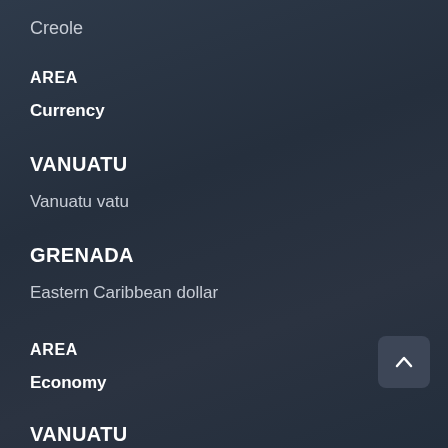Creole
AREA
Currency
VANUATU
Vanuatu vatu
GRENADA
Eastern Caribbean dollar
AREA
Economy
VANUATU